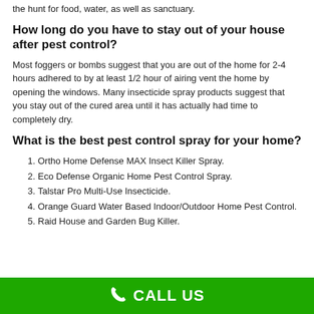the hunt for food, water, as well as sanctuary.
How long do you have to stay out of your house after pest control?
Most foggers or bombs suggest that you are out of the home for 2-4 hours adhered to by at least 1/2 hour of airing vent the home by opening the windows. Many insecticide spray products suggest that you stay out of the cured area until it has actually had time to completely dry.
What is the best pest control spray for your home?
1. Ortho Home Defense MAX Insect Killer Spray.
2. Eco Defense Organic Home Pest Control Spray.
3. Talstar Pro Multi-Use Insecticide.
4. Orange Guard Water Based Indoor/Outdoor Home Pest Control.
5. Raid House and Garden Bug Killer.
CALL US